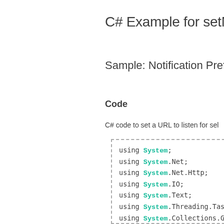C# Example for setN
Sample: Notification Pref
Code
C# code to set a URL to listen for sel
[Figure (screenshot): C# code block showing using statements: using System; using System.Net; using System.Net.Http; using System.IO; using System.Text; using System.Threading.Tasks; using System.Collections.G; using System.Text.RegularE; using System.Globalization; using Newtonsoft.Json; using Newtonsoft.Json.Linq;]